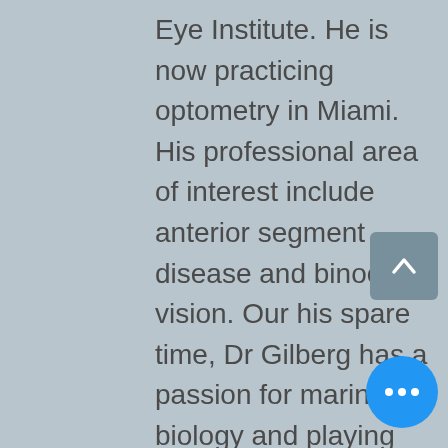Eye Institute. He is now practicing optometry in Miami. His professional area of interest include anterior segment disease and binocular vision. Our his spare time, Dr Gilberg has a passion for marine biology and playing the piano.
Dr Diego Ledda grew up in Lille, the North of France. He is an acclaimed international lecturer: after graduating with a Masters Degree from one of Paris University, he went on